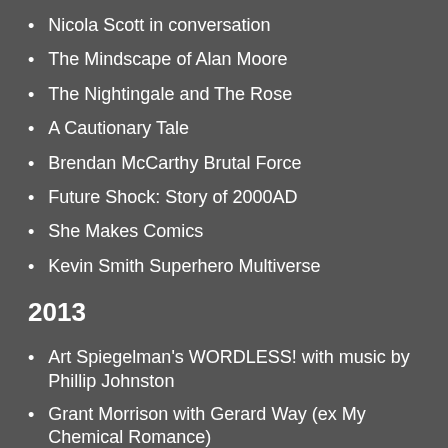Nicola Scott in conversation
The Mindscape of Alan Moore
The Nightingale and The Rose
A Cautionary Tale
Brendan McCarthy Brutal Force
Future Shock: Story of 2000AD
She Makes Comics
Kevin Smith Superhero Multiverse
2013
Art Spiegelman's WORDLESS! with music by Phillip Johnston
Grant Morrison with Gerard Way (ex My Chemical Romance)
Robot Chicken Live featuring Seth Green, Matt Senreich & friends